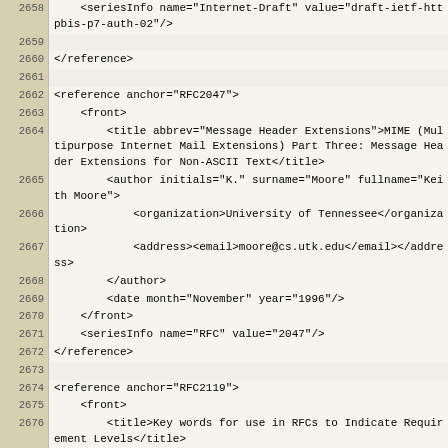| line | code |
| --- | --- |
| 2658 | <seriesInfo name="Internet-Draft" value="draft-ietf-httpbis-p7-auth-02"/> |
| 2659 |  |
| 2660 | </reference> |
| 2661 |  |
| 2662 | <reference anchor="RFC2047"> |
| 2663 |   <front> |
| 2664 |     <title abbrev="Message Header Extensions">MIME (Multipurpose Internet Mail Extensions) Part Three: Message Header Extensions for Non-ASCII Text</title> |
| 2665 |     <author initials="K." surname="Moore" fullname="Keith Moore"> |
| 2666 |       <organization>University of Tennessee</organization> |
| 2667 |       <address><email>moore@cs.utk.edu</email></address> |
| 2668 |     </author> |
| 2669 |     <date month="November" year="1996"/> |
| 2670 |   </front> |
| 2671 |   <seriesInfo name="RFC" value="2047"/> |
| 2672 | </reference> |
| 2673 |  |
| 2674 | <reference anchor="RFC2119"> |
| 2675 |   <front> |
| 2676 |     <title>Key words for use in RFCs to Indicate Requirement Levels</title> |
| 2677 |     <author initials="S." surname="Bradner" fullname="Scott Bradner"> |
| 2678 |       <organization>Harvard University</organization> |
| 2679 |       <address><email>sob@harvard.edu</email></address> |
| 2680 |     </author> |
| 2681 |     <date month="March" year="1997"/> |
| 2682 |   </front> |
| 2683 |   <seriesInfo name="BCP" value="14"/> |